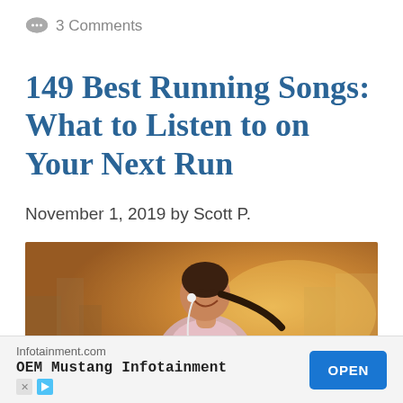💬 3 Comments
149 Best Running Songs: What to Listen to on Your Next Run
November 1, 2019 by Scott P.
[Figure (photo): Woman runner smiling with earphones/earbuds in, ponytail, city background with warm golden light]
Infotainment.com OEM Mustang Infotainment OPEN